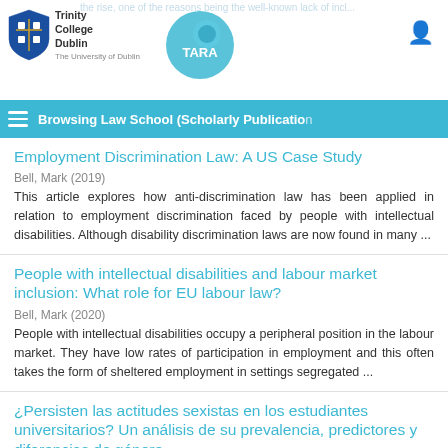Trinity College Dublin | TARA | The University of Dublin
the rise, one of the reasons being the well-known lack of incl... cure services and their underlying technologies, such as cloud computing. In this ...
Browsing Law School (Scholarly Publication
Employment Discrimination Law: A US Case Study
Bell, Mark (2019)
This article explores how anti-discrimination law has been applied in relation to employment discrimination faced by people with intellectual disabilities. Although disability discrimination laws are now found in many ...
People with intellectual disabilities and labour market inclusion: What role for EU labour law?
Bell, Mark (2020)
People with intellectual disabilities occupy a peripheral position in the labour market. They have low rates of participation in employment and this often takes the form of sheltered employment in settings segregated ...
¿Persisten las actitudes sexistas en los estudiantes universitarios? Un análisis de su prevalencia, predictores y diferencias de género